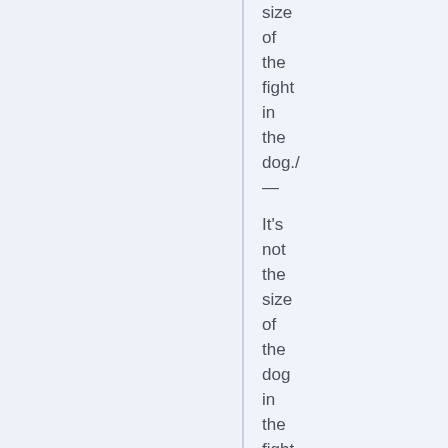size of the fight in the dog./— It's not the size of the dog in the fight, it's the size of